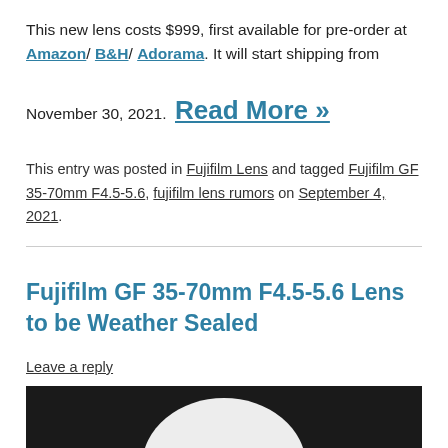This new lens costs $999, first available for pre-order at Amazon/ B&H/ Adorama. It will start shipping from November 30, 2021. Read More »
This entry was posted in Fujifilm Lens and tagged Fujifilm GF 35-70mm F4.5-5.6, fujifilm lens rumors on September 4, 2021.
Fujifilm GF 35-70mm F4.5-5.6 Lens to be Weather Sealed
Leave a reply
[Figure (photo): Black and white photo of a camera lens, partially visible at the bottom of the page]